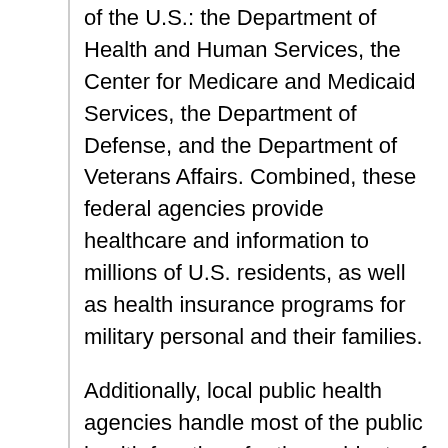of the U.S.: the Department of Health and Human Services, the Center for Medicare and Medicaid Services, the Department of Defense, and the Department of Veterans Affairs. Combined, these federal agencies provide healthcare and information to millions of U.S. residents, as well as health insurance programs for military personal and their families.
Additionally, local public health agencies handle most of the public health functions for the residents of their respective states. They provide mental health services, cancer screening, children health issues, environmental and sanitation concerns, and a variety of other health related services and issues. The biggest concern I see that needs the most improvement in healthcare in the U.S. is medical care for the uninsured and under-insured.